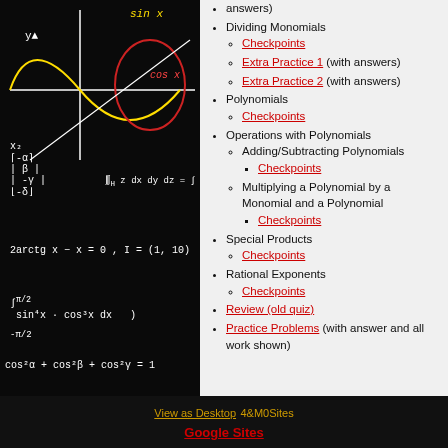[Figure (illustration): Chalkboard background with mathematical formulas, trigonometric graphs (sin x, cos x curves in yellow and red), coordinate axes, and handwritten math equations including integrals, partial derivatives, and trigonometric identities written in white and colored chalk.]
answers)
Dividing Monomials
  Checkpoints
  Extra Practice 1 (with answers)
  Extra Practice 2 (with answers)
Polynomials
  Checkpoints
Operations with Polynomials
  Adding/Subtracting Polynomials
    Checkpoints
  Multiplying a Polynomial by a Monomial and a Polynomial
    Checkpoints
Special Products
  Checkpoints
Rational Exponents
  Checkpoints
Review (old quiz)
Practice Problems (with answer and all work shown)
View as Desktop | 4&M0Sites
Google Sites